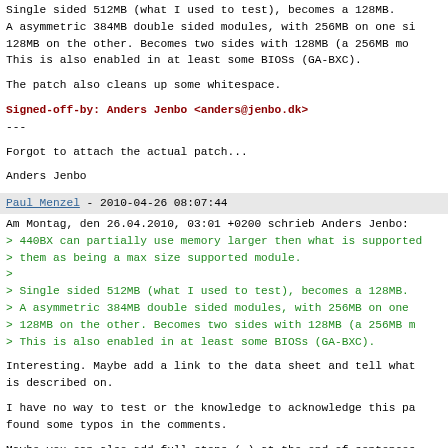Single sided 512MB (what I used to test), becomes a 128MB. A asymmetric 384MB double sided modules, with 256MB on one si 128MB on the other. Becomes two sides with 128MB (a 256MB mo This is also enabled in at least some BIOSs (GA-BXC).
The patch also cleans up some whitespace.
Signed-off-by: Anders Jenbo <anders@jenbo.dk>
---
Forgot to attach the actual patch...
Anders Jenbo
Paul Menzel - 2010-04-26 08:07:44
Am Montag, den 26.04.2010, 03:01 +0200 schrieb Anders Jenbo:
> 440BX can partially use memory larger then what is supported
> them as being a max size supported module.
>
> Single sided 512MB (what I used to test), becomes a 128MB.
> A asymmetric 384MB double sided modules, with 256MB on one
> 128MB on the other. Becomes two sides with 128MB (a 256MB m
> This is also enabled in at least some BIOSs (GA-BXC).
Interesting. Maybe add a link to the data sheet and tell what is described on.
I have no way to test or the knowledge to acknowledge this pa found some typos in the comments.
Maybe you can also add full stops (.) at the end of sentences